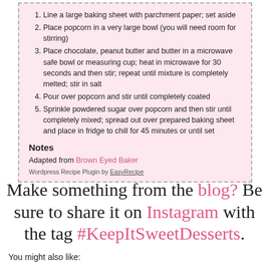1. Line a large baking sheet with parchment paper; set aside
2. Place popcorn in a very large bowl (you will need room for stirring)
3. Place chocolate, peanut butter and butter in a microwave safe bowl or measuring cup; heat in microwave for 30 seconds and then stir; repeat until mixture is completely melted; stir in salt
4. Pour over popcorn and stir until completely coated
5. Sprinkle powdered sugar over popcorn and then stir until completely mixed; spread out over prepared baking sheet and place in fridge to chill for 45 minutes or until set
Notes
Adapted from Brown Eyed Baker
Wordpress Recipe Plugin by EasyRecipe
Make something from the blog? Be sure to share it on Instagram with the tag #KeepItSweetDesserts.
You might also like: